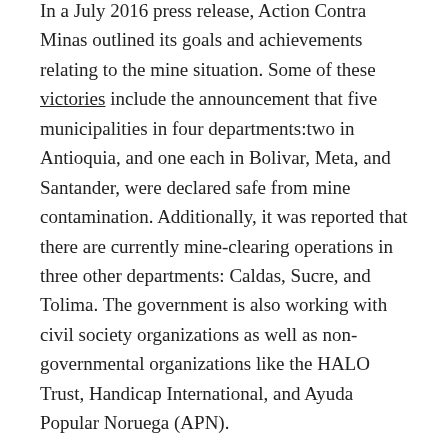In a July 2016 press release, Action Contra Minas outlined its goals and achievements relating to the mine situation. Some of these victories include the announcement that five municipalities in four departments:two in Antioquia, and one each in Bolivar, Meta, and Santander, were declared safe from mine contamination. Additionally, it was reported that there are currently mine-clearing operations in three other departments: Caldas, Sucre, and Tolima. The government is also working with civil society organizations as well as non-governmental organizations like the HALO Trust, Handicap International, and Ayuda Popular Noruega (APN).
While the ongoing mine-clearing efforts outlined by